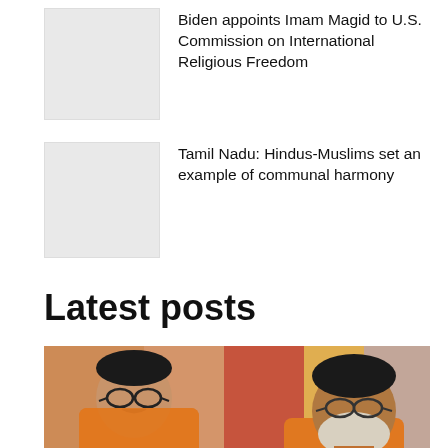[Figure (photo): Thumbnail placeholder image for Biden/Imam Magid article]
Biden appoints Imam Magid to U.S. Commission on International Religious Freedom
[Figure (photo): Thumbnail placeholder image for Tamil Nadu article]
Tamil Nadu: Hindus-Muslims set an example of communal harmony
Latest posts
[Figure (photo): Two men in orange attire; one wearing glasses with mustache, another older man with beard and glasses, colorful background]